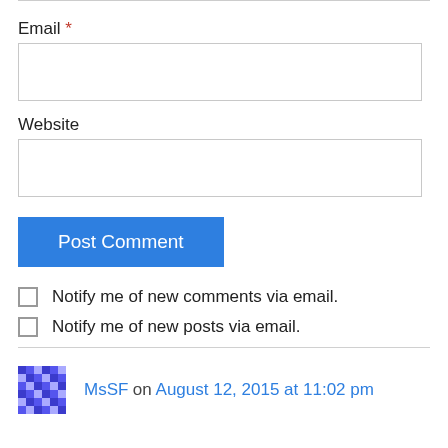Email *
Website
Post Comment
Notify me of new comments via email.
Notify me of new posts via email.
MsSF on August 12, 2015 at 11:02 pm